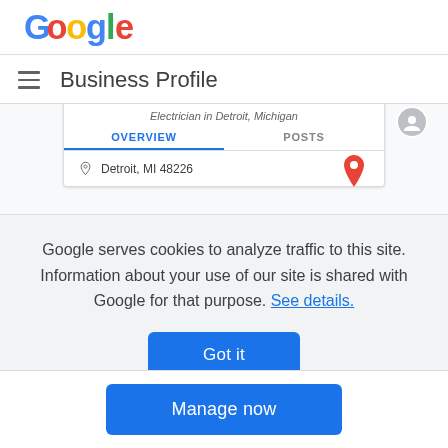[Figure (logo): Google logo in multicolor (blue G, red o, yellow o, blue g, green l, red e)]
Business Profile
[Figure (screenshot): Partial screenshot of Google Business Profile interface showing 'Electrician in Detroit, Michigan', Overview and Posts tabs, and Detroit MI 48226 address with map pin icon]
Google serves cookies to analyze traffic to this site. Information about your use of our site is shared with Google for that purpose. See details.
Got it
Manage now